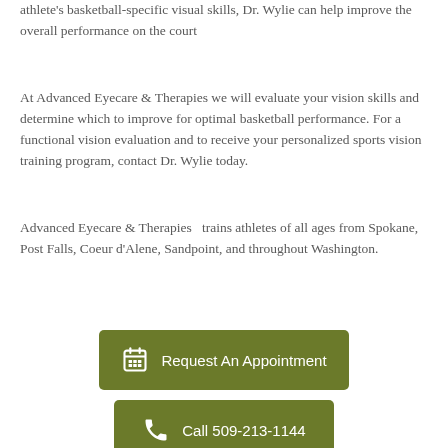athlete's basketball-specific visual skills, Dr. Wylie can help improve the overall performance on the court
At Advanced Eyecare & Therapies we will evaluate your vision skills and determine which to improve for optimal basketball performance. For a functional vision evaluation and to receive your personalized sports vision training program, contact Dr. Wylie today.
Advanced Eyecare & Therapies  trains athletes of all ages from Spokane, Post Falls, Coeur d'Alene, Sandpoint, and throughout Washington.
[Figure (other): Green button with calendar icon and text 'Request An Appointment']
[Figure (other): Green button with phone icon and text 'Call 509-213-1144']